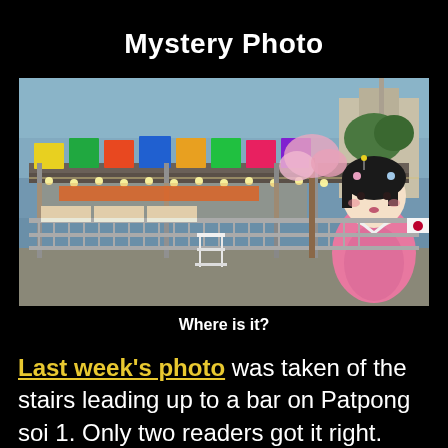Mystery Photo
[Figure (photo): Outdoor restaurant or market stall at dusk with colorful banners, string lights, metal fence/railing, and a large Japanese kokeshi doll mural on the right side. Tables and signage visible inside.]
Where is it?
Last week's photo was taken of the stairs leading up to a bar on Patpong soi 1. Only two readers got it right. This week's mystery photo is something I